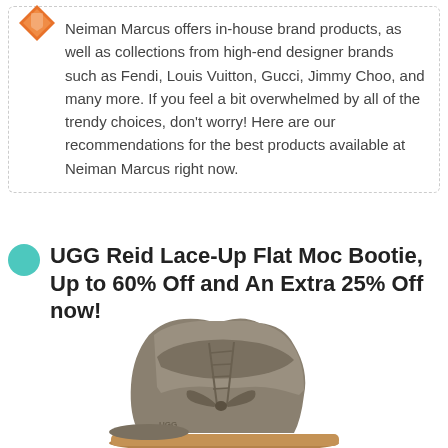Neiman Marcus offers in-house brand products, as well as collections from high-end designer brands such as Fendi, Louis Vuitton, Gucci, Jimmy Choo, and many more. If you feel a bit overwhelmed by all of the trendy choices, don't worry! Here are our recommendations for the best products available at Neiman Marcus right now.
UGG Reid Lace-Up Flat Moc Bootie, Up to 60% Off and An Extra 25% Off now!
[Figure (photo): Photo of a taupe/grey UGG Reid Lace-Up Flat Moc Bootie with suede upper, lace-up front tie, fold-over collar detail, and gum rubber sole.]